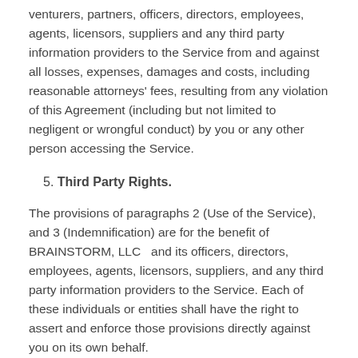venturers, partners, officers, directors, employees, agents, licensors, suppliers and any third party information providers to the Service from and against all losses, expenses, damages and costs, including reasonable attorneys' fees, resulting from any violation of this Agreement (including but not limited to negligent or wrongful conduct) by you or any other person accessing the Service.
5. Third Party Rights.
The provisions of paragraphs 2 (Use of the Service), and 3 (Indemnification) are for the benefit of BRAINSTORM, LLC  and its officers, directors, employees, agents, licensors, suppliers, and any third party information providers to the Service. Each of these individuals or entities shall have the right to assert and enforce those provisions directly against you on its own behalf.